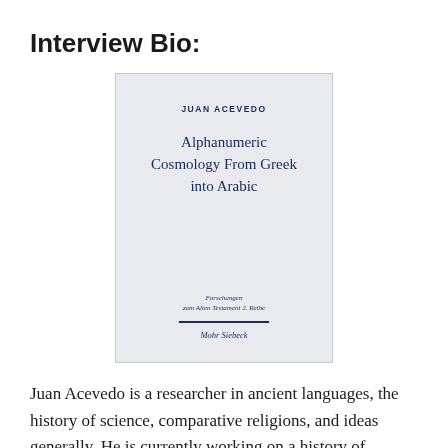Interview Bio:
[Figure (illustration): Book cover of 'Alphanumeric Cosmology From Greek into Arabic' by Juan Acevedo, published by Mohr Siebeck. Light gray cover with dark blue text showing author name, title, and series information with a horizontal rule above the publisher name.]
Juan Acevedo is a researcher in ancient languages, the history of science, comparative religions, and ideas generally. He is currently working on a history of Indian-